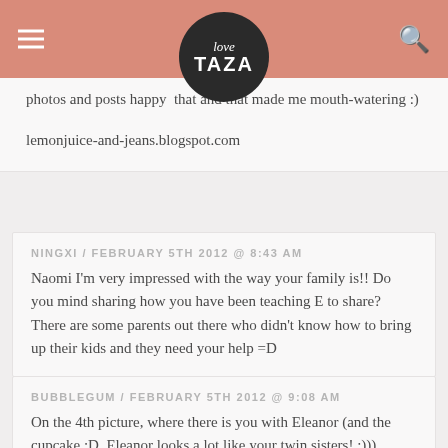love TAZA
photos and postsappy that and that made us mouth-watering :)
lemonjuice-and-jeans.blogspot.com
NINGXI / FEBRUARY 5TH 2012 @ 8:43 AM
Naomi I'm very impressed with the way your family is!! Do you mind sharing how you have been teaching E to share? There are some parents out there who didn't know how to bring up their kids and they need your help =D
BUBBLEGUM / FEBRUARY 5TH 2012 @ 9:08 AM
On the 4th picture, where there is you with Eleanor (and the cupcake ;D, Eleanor looks a lot like your twin sisters! :))) She's definitely one of the cutest little girls I know! Kisses from